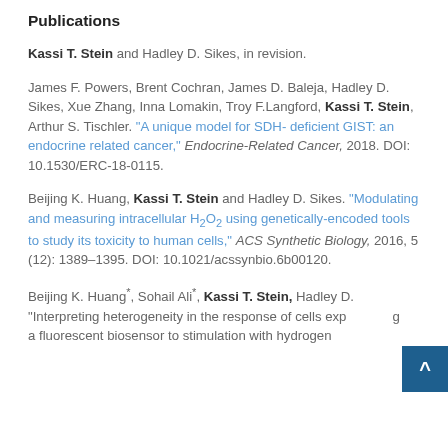Publications
Kassi T. Stein and Hadley D. Sikes, in revision.
James F. Powers, Brent Cochran, James D. Baleja, Hadley D. Sikes, Xue Zhang, Inna Lomakin, Troy F.Langford, Kassi T. Stein, Arthur S. Tischler. "A unique model for SDH- deficient GIST: an endocrine related cancer," Endocrine-Related Cancer, 2018. DOI: 10.1530/ERC-18-0115.
Beijing K. Huang, Kassi T. Stein and Hadley D. Sikes. "Modulating and measuring intracellular H2O2 using genetically-encoded tools to study its toxicity to human cells," ACS Synthetic Biology, 2016, 5 (12): 1389–1395. DOI: 10.1021/acssynbio.6b00120.
Beijing K. Huang*, Sohail Ali*, Kassi T. Stein, Hadley D. "Interpreting heterogeneity in the response of cells expressing a fluorescent biosensor to stimulation with hydrogen